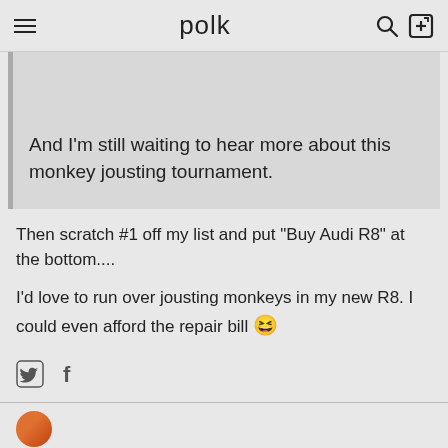polk
And I'm still waiting to hear more about this monkey jousting tournament.
Then scratch #1 off my list and put "Buy Audi R8" at the bottom....
I'd love to run over jousting monkeys in my new R8. I could even afford the repair bill 😆
[Figure (other): Social sharing icons: Twitter bird icon and Facebook f icon]
[Figure (other): User avatar circle (partial, bottom of page)]